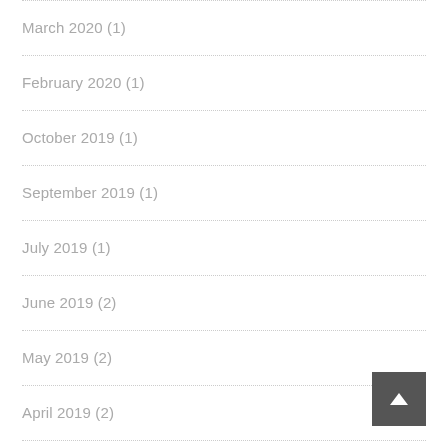March 2020 (1)
February 2020 (1)
October 2019 (1)
September 2019 (1)
July 2019 (1)
June 2019 (2)
May 2019 (2)
April 2019 (2)
March 2019 (4)
February 2019 (4)